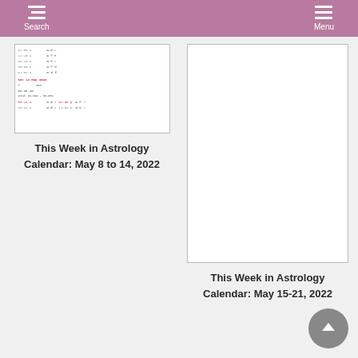Search | Menu
[Figure (screenshot): Thumbnail of an astrology calendar page showing dates and planetary positions for week of May 8-14, 2022]
This Week in Astrology
Calendar: May 8 to 14, 2022
[Figure (screenshot): Thumbnail of an astrology calendar page for week of May 15-21, 2022 (mostly blank white)]
This Week in Astrology
Calendar: May 15-21, 2022